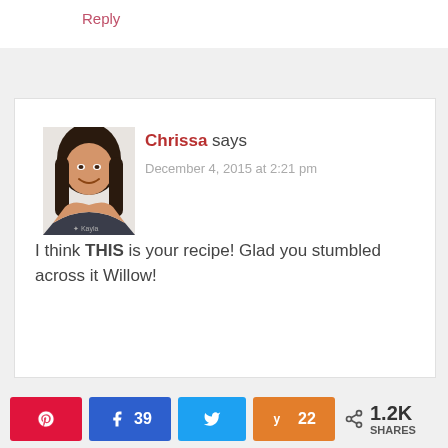Reply
[Figure (photo): Profile photo of Chrissa, a woman with dark hair wearing a dark t-shirt, smiling]
Chrissa says
December 4, 2015 at 2:21 pm
I think THIS is your recipe! Glad you stumbled across it Willow!
39
22
1.2K SHARES